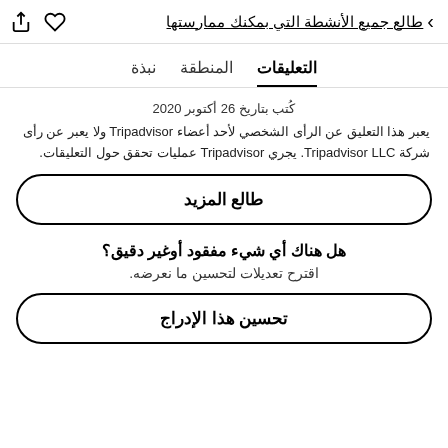طالع جميع الأنشطة التي بمكنك ممارستها
نبذة   المنطقة   التعليقات
كُتب بتاريخ 26 أكتوبر 2020
يعبر هذا التعليق عن الرأى الشخصي لأحد أعضاء Tripadvisor ولا يعبر عن رأى شركة Tripadvisor LLC. يجري Tripadvisor عمليات تحقق حول التعليقات.
طالع المزيد
هل هناك أي شيء مفقود أوغير دقيق؟
اقترح تعديلات لتحسين ما نعرضه.
تحسين هذا الإدراج